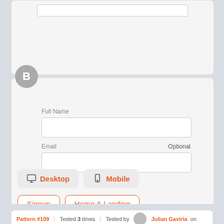[Figure (screenshot): Partial top card showing a form input field (section A)]
[Figure (screenshot): Section B badge circle with letter B]
[Figure (screenshot): Form card B with Full Name and Email (Optional) input fields]
[Figure (screenshot): Desktop and Mobile tag buttons with icons]
[Figure (screenshot): Signup and Home & Landing outline tag buttons]
Pattern #109 | Tested 3 times | Tested by Julian Gaviria on